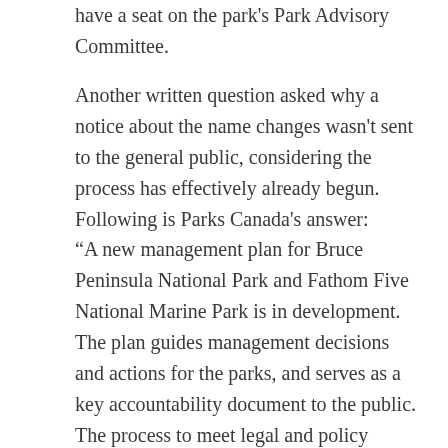have a seat on the park's Park Advisory Committee.
Another written question asked why a notice about the name changes wasn't sent to the general public, considering the process has effectively already begun. Following is Parks Canada's answer:
“A new management plan for Bruce Peninsula National Park and Fathom Five National Marine Park is in development. The plan guides management decisions and actions for the parks, and serves as a key accountability document to the public. The process to meet legal and policy obligations while reflecting the interests and input of Canadians unfolds over many months and creates several opportunities for Canadians, partners and stakeholders to provide feedback, guidance and to weigh in on proposed